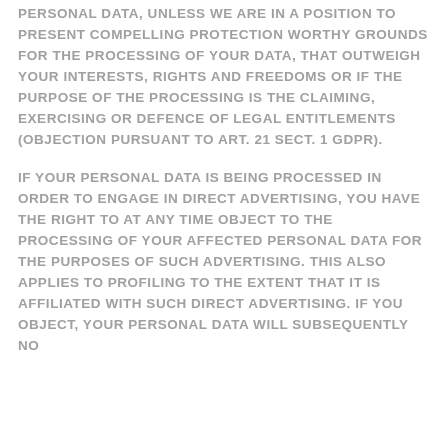PERSONAL DATA, UNLESS WE ARE IN A POSITION TO PRESENT COMPELLING PROTECTION WORTHY GROUNDS FOR THE PROCESSING OF YOUR DATA, THAT OUTWEIGH YOUR INTERESTS, RIGHTS AND FREEDOMS OR IF THE PURPOSE OF THE PROCESSING IS THE CLAIMING, EXERCISING OR DEFENCE OF LEGAL ENTITLEMENTS (OBJECTION PURSUANT TO ART. 21 SECT. 1 GDPR).
IF YOUR PERSONAL DATA IS BEING PROCESSED IN ORDER TO ENGAGE IN DIRECT ADVERTISING, YOU HAVE THE RIGHT TO AT ANY TIME OBJECT TO THE PROCESSING OF YOUR AFFECTED PERSONAL DATA FOR THE PURPOSES OF SUCH ADVERTISING. THIS ALSO APPLIES TO PROFILING TO THE EXTENT THAT IT IS AFFILIATED WITH SUCH DIRECT ADVERTISING. IF YOU OBJECT, YOUR PERSONAL DATA WILL SUBSEQUENTLY NO